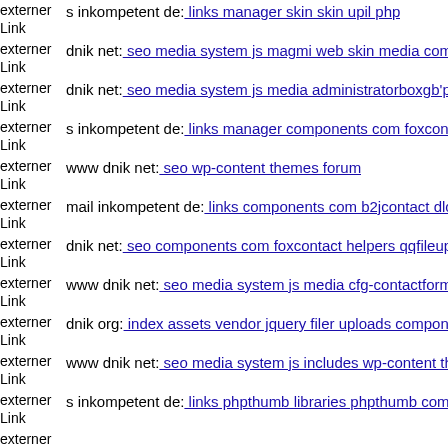externer Link  s inkompetent de: links manager skin skin upil php
externer Link  dnik net: seo media system js magmi web skin media comp
externer Link  dnik net: seo media system js media administratorboxgb'pa
externer Link  s inkompetent de: links manager components com foxconta
externer Link  www dnik net: seo wp-content themes forum
externer Link  mail inkompetent de: links components com b2jcontact dlc
externer Link  dnik net: seo components com foxcontact helpers qqfileuple
externer Link  www dnik net: seo media system js media cfg-contactform-
externer Link  dnik org: index assets vendor jquery filer uploads compone
externer Link  www dnik net: seo media system js includes wp-content the
externer Link  s inkompetent de: links phpthumb libraries phpthumb comp
externer Link